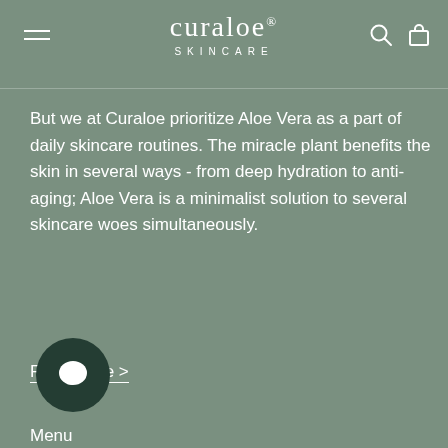curaloe SKINCARE
But we at Curaloe prioritize Aloe Vera as a part of daily skincare routines. The miracle plant benefits the skin in several ways - from deep hydration to anti-aging; Aloe Vera is a minimalist solution to several skincare woes simultaneously.
Read more >
Menu
Customer care
Affiliate program
Become a distributor/retailer